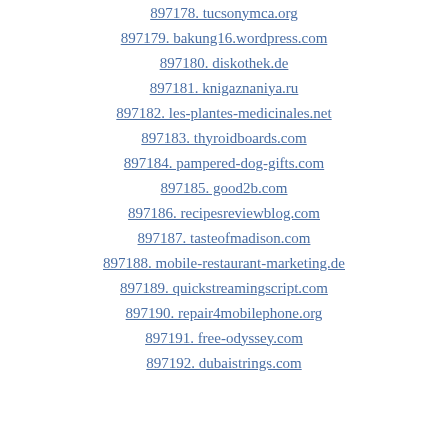897178. tucsonymca.org
897179. bakung16.wordpress.com
897180. diskothek.de
897181. knigaznaniya.ru
897182. les-plantes-medicinales.net
897183. thyroidboards.com
897184. pampered-dog-gifts.com
897185. good2b.com
897186. recipesreviewblog.com
897187. tasteofmadison.com
897188. mobile-restaurant-marketing.de
897189. quickstreamingscript.com
897190. repair4mobilephone.org
897191. free-odyssey.com
897192. dubaistrings.com